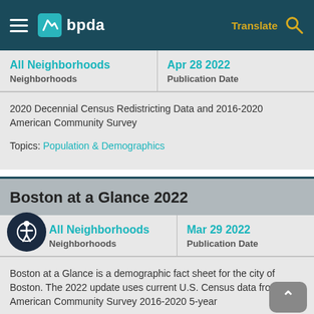bpda — Translate
All Neighborhoods
Neighborhoods
Apr 28 2022
Publication Date
2020 Decennial Census Redistricting Data and 2016-2020 American Community Survey

Topics: Population & Demographics
Boston at a Glance 2022
All Neighborhoods
Neighborhoods
Mar 29 2022
Publication Date
Boston at a Glance is a demographic fact sheet for the city of Boston. The 2022 update uses current U.S. Census data from the American Community Survey 2016-2020 5-year